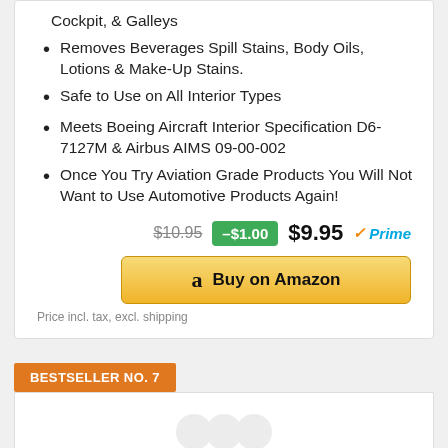Cockpit, & Galleys
Removes Beverages Spill Stains, Body Oils, Lotions & Make-Up Stains.
Safe to Use on All Interior Types
Meets Boeing Aircraft Interior Specification D6-7127M & Airbus AIMS 09-00-002
Once You Try Aviation Grade Products You Will Not Want to Use Automotive Products Again!
$10.95  -$1.00  $9.95 Prime
Buy on Amazon
Price incl. tax, excl. shipping
BESTSELLER NO. 7
[Figure (other): Product image placeholder (faded/loading)]